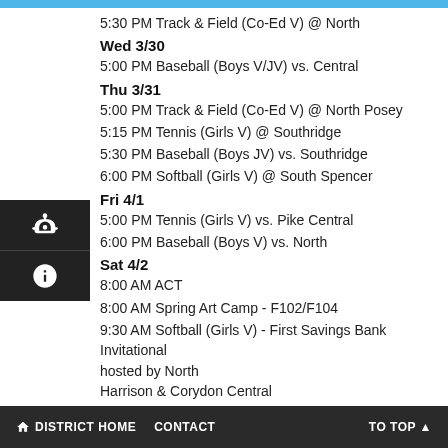5:30 PM Track & Field (Co-Ed V) @ North
Wed 3/30
5:00 PM Baseball (Boys V/JV) vs. Central
Thu 3/31
5:00 PM Track & Field (Co-Ed V) @ North Posey
5:15 PM Tennis (Girls V) @ Southridge
5:30 PM Baseball (Boys JV) vs. Southridge
6:00 PM Softball (Girls V) @ South Spencer
Fri 4/1
5:00 PM Tennis (Girls V) vs. Pike Central
6:00 PM Baseball (Boys V) vs. North
Sat 4/2
8:00 AM ACT
8:00 AM Spring Art Camp - F102/F104
9:30 AM Softball (Girls V) - First Savings Bank Invitational hosted by North Harrison & Corydon Central
LUNCH MENU for the WEEK of 03/28/22 - 04/01/22
Monday - Chicken Patty / NO FRY DAY
DISTRICT HOME   CONTACT   TO TOP